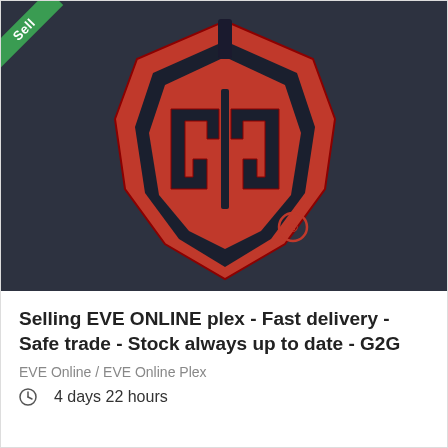[Figure (logo): G2G red shield logo with stylized GG letters on dark navy background, with registered trademark symbol]
Selling EVE ONLINE plex - Fast delivery - Safe trade - Stock always up to date - G2G
EVE Online / EVE Online Plex
4 days 22 hours